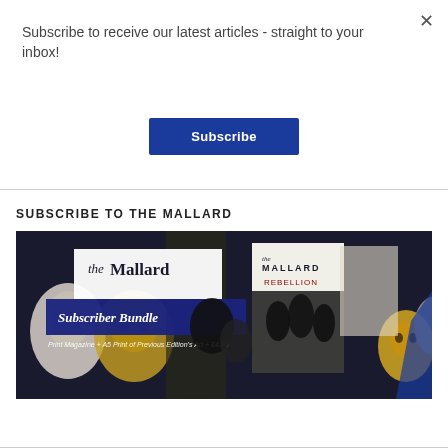Subscribe to receive our latest articles - straight to your inbox!
Subscribe
SUBSCRIBE TO THE MALLARD
[Figure (illustration): The Mallard Subscriber Bundle promotional image showing magazine covers and theatrical masks on a dark background. Text reads: 'the Mallard', 'Subscriber Bundle', 'MALLARD REBELLION', 'Print Magazine + A5 Print of Previous Edition's Art + £4.99']